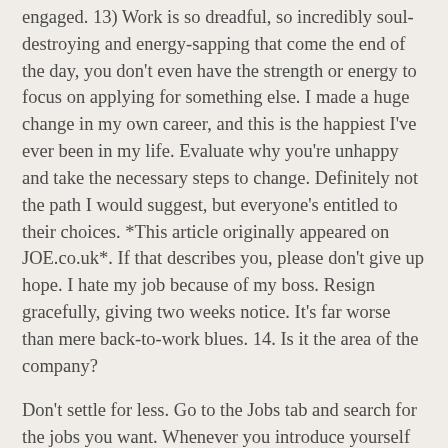engaged. 13) Work is so dreadful, so incredibly soul-destroying and energy-sapping that come the end of the day, you don't even have the strength or energy to focus on applying for something else. I made a huge change in my own career, and this is the happiest I've ever been in my life. Evaluate why you're unhappy and take the necessary steps to change. Definitely not the path I would suggest, but everyone's entitled to their choices. *This article originally appeared on JOE.co.uk*. If that describes you, please don't give up hope. I hate my job because of my boss. Resign gracefully, giving two weeks notice. It's far worse than mere back-to-work blues. 14. Is it the area of the company?
Don't settle for less. Go to the Jobs tab and search for the jobs you want. Whenever you introduce yourself to someone, after your name, where you're from, and possibly your age, you tell them what you do for a living. Whether